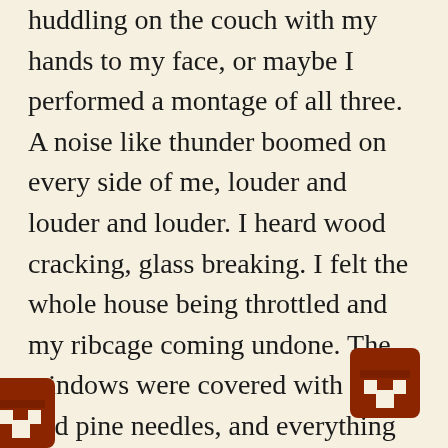huddling on the couch with my hands to my face, or maybe I performed a montage of all three. A noise like thunder boomed on every side of me, louder and louder and louder. I heard wood cracking, glass breaking. I felt the whole house being throttled and my ribcage coming undone. The windows were covered with limbs and pine needles, and everything was dark.

And twenty seconds later it stopped, and there was only soft rain. I knew what had happened. For years, during heavy storms, I had lain at night expecting this to happen. The only
[Figure (logo): Dark red/brown building/house icon logo in bottom right corner]
[Figure (logo): Dark red/brown building/house icon logo in bottom left corner (partially cut off)]